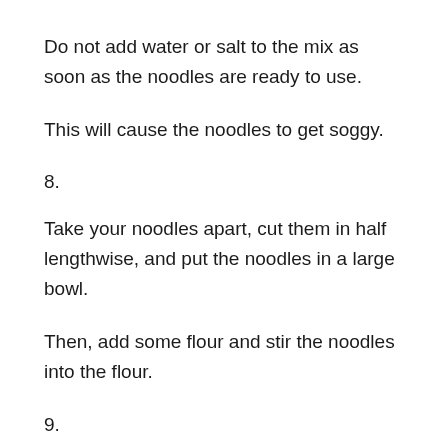Do not add water or salt to the mix as soon as the noodles are ready to use.
This will cause the noodles to get soggy.
8.
Take your noodles apart, cut them in half lengthwise, and put the noodles in a large bowl.
Then, add some flour and stir the noodles into the flour.
9.